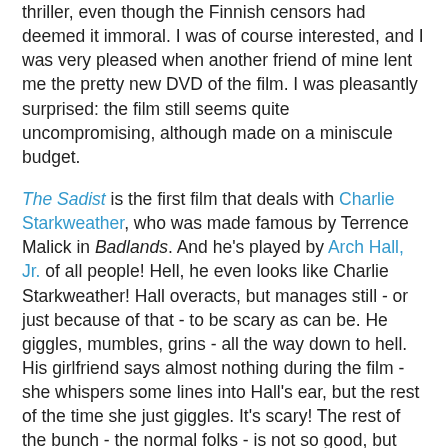thriller, even though the Finnish censors had deemed it immoral. I was of course interested, and I was very pleased when another friend of mine lent me the pretty new DVD of the film. I was pleasantly surprised: the film still seems quite uncompromising, although made on a miniscule budget.
The Sadist is the first film that deals with Charlie Starkweather, who was made famous by Terrence Malick in Badlands. And he's played by Arch Hall, Jr. of all people! Hell, he even looks like Charlie Starkweather! Hall overacts, but manages still - or just because of that - to be scary as can be. He giggles, mumbles, grins - all the way down to hell. His girlfriend says almost nothing during the film - she whispers some lines into Hall's ear, but the rest of the time she just giggles. It's scary! The rest of the bunch - the normal folks - is not so good, but they are manageable.
The Sadist seems an important precursor to films like The Texas Chainsaw Massacre (and, Todd, I know you don't like the film!). There are only shrieks and screams on the soundtrack for the last ten or fifteen minutes - and the ending is very downbeat, foreshadowing what will happen in Tobe Hooper's film ten years later.